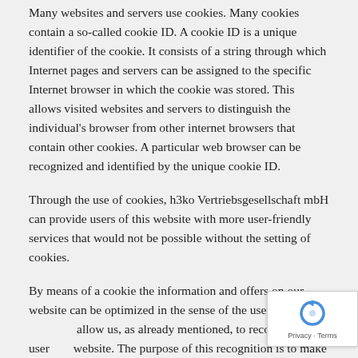Many websites and servers use cookies. Many cookies contain a so-called cookie ID. A cookie ID is a unique identifier of the cookie. It consists of a string through which Internet pages and servers can be assigned to the specific Internet browser in which the cookie was stored. This allows visited websites and servers to distinguish the individual's browser from other internet browsers that contain other cookies. A particular web browser can be recognized and identified by the unique cookie ID.
Through the use of cookies, h3ko Vertriebsgesellschaft mbH can provide users of this website with more user-friendly services that would not be possible without the setting of cookies.
By means of a cookie the information and offers on our website can be optimized in the sense of the user. Cookies allow us, as already mentioned, to recognize the users of our website. The purpose of this recognition is to make it easier
[Figure (logo): reCAPTCHA privacy badge with rotating arrows icon and 'Privacy · Terms' text]